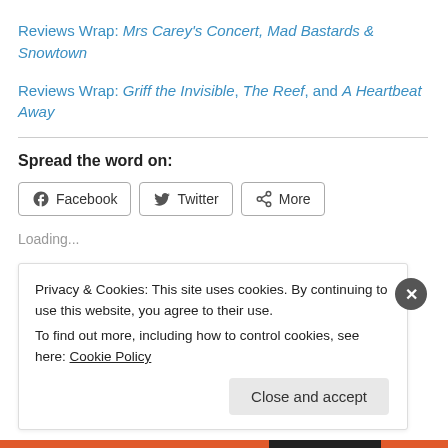Reviews Wrap: Mrs Carey's Concert, Mad Bastards & Snowtown
Reviews Wrap: Griff the Invisible, The Reef, and A Heartbeat Away
Spread the word on:
[Figure (other): Social sharing buttons: Facebook, Twitter, More]
Loading...
Privacy & Cookies: This site uses cookies. By continuing to use this website, you agree to their use. To find out more, including how to control cookies, see here: Cookie Policy
Close and accept